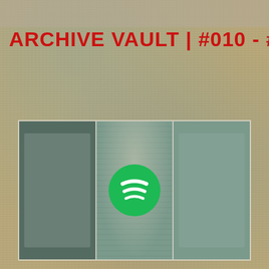ARCHIVE VAULT | #010 - #001
[Figure (screenshot): Three-panel image grid showing textured grunge backgrounds; center panel has a Spotify logo (green circle with white sound-wave stripes)]
[Figure (logo): Patreon button with icon and underlined text 'Become a patron' on red background]
Deze site gebruikt cookies. Deal with it.
enter email address here to receive newsletter
OK